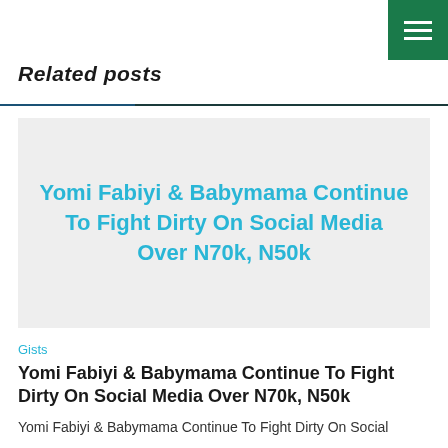☰
Related posts
[Figure (other): Article thumbnail image placeholder with cyan/teal colored headline text reading: Yomi Fabiyi & Babymama Continue To Fight Dirty On Social Media Over N70k, N50k]
Gists
Yomi Fabiyi & Babymama Continue To Fight Dirty On Social Media Over N70k, N50k
Yomi Fabiyi & Babymama Continue To Fight Dirty On Social